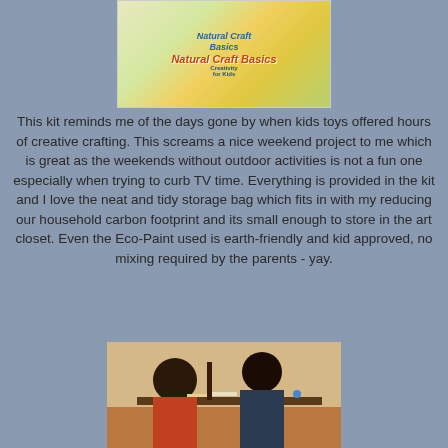[Figure (photo): Product box photo of 'Natural Craft Basics' kit by Creativity for Kids, showing colorful craft supplies]
This kit reminds me of the days gone by when kids toys offered hours of creative crafting.  This screams a nice weekend project to me which is great as the weekends without outdoor activities is not a fun one especially when trying to curb TV time.   Everything is provided in the kit and I love the neat and tidy storage bag which fits in with my reducing our household carbon footprint and its small enough to store in the art closet. Even the Eco-Paint used is earth-friendly and kid approved, no mixing required by the parents - yay.
[Figure (photo): Photo of two children sitting at a table doing crafts/painting, with craft supplies visible on the table]